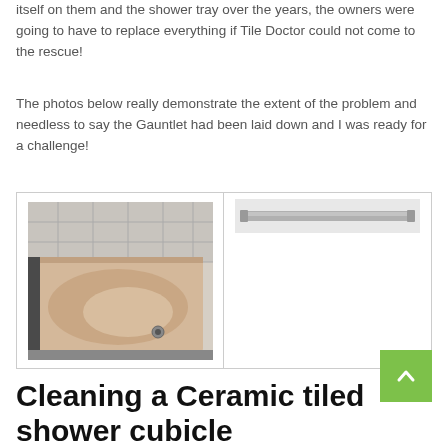itself on them and the shower tray over the years, the owners were going to have to replace everything if Tile Doctor could not come to the rescue!
The photos below really demonstrate the extent of the problem and needless to say the Gauntlet had been laid down and I was ready for a challenge!
[Figure (photo): Gallery container with two images side by side: left shows a dirty stained shower tray in a tiled cubicle (before cleaning), right shows a close-up of a metal shower rail or fitting.]
Cleaning a Ceramic tiled shower cubicle